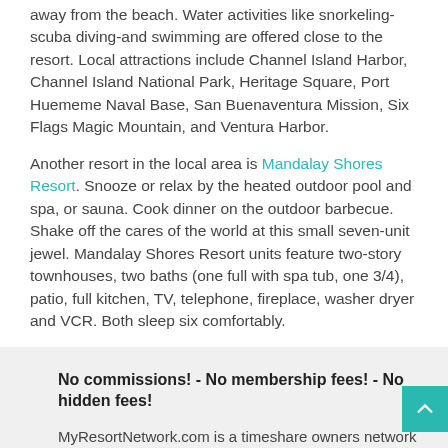away from the beach. Water activities like snorkeling-scuba diving-and swimming are offered close to the resort. Local attractions include Channel Island Harbor, Channel Island National Park, Heritage Square, Port Huememe Naval Base, San Buenaventura Mission, Six Flags Magic Mountain, and Ventura Harbor.
Another resort in the local area is Mandalay Shores Resort. Snooze or relax by the heated outdoor pool and spa, or sauna. Cook dinner on the outdoor barbecue. Shake off the cares of the world at this small seven-unit jewel. Mandalay Shores Resort units feature two-story townhouses, two baths (one full with spa tub, one 3/4), patio, full kitchen, TV, telephone, fireplace, washer dryer and VCR. Both sleep six comfortably.
No commissions! - No membership fees! - No hidden fees!
MyResortNetwork.com is a timeshare owners network - we are not the resort, Channel Island Shores, or the resort management. Vacation